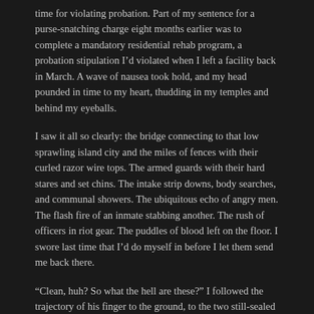time for violating probation. Part of my sentence for a purse-snatching charge eight months earlier was to complete a mandatory residential rehab program, a probation stipulation I'd violated when I left a facility back in March. A wave of nausea took hold, and my head pounded in time to my heart, thudding in my temples and behind my eyeballs.
I saw it all so clearly: the bridge connecting to that low sprawling island city and the miles of fences with their curled razor wire tops. The armed guards with their hard stares and set chins. The intake strip downs, body searches, and communal showers. The ubiquitous echo of angry men. The flash fire of an inmate stabbing another. The rush of officers in riot gear. The puddles of blood left on the floor. I swore last time that I'd do myself in before I let them send me back there.
“Clean, huh? So what the hell are these?” I followed the trajectory of his finger to the ground, to the two still-sealed bags of heroin at my feet. “Damn, you almost